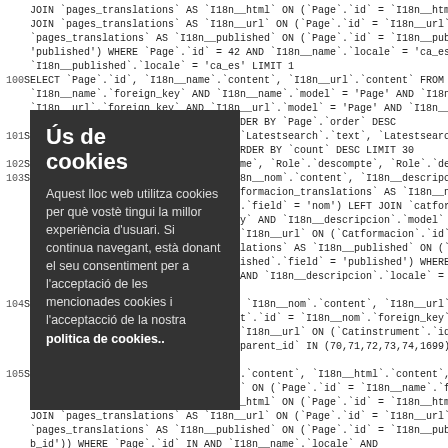JOIN `pages_translations` AS `I18n__html` ON (`Page`.`id` = `I18n__html`.`foreign_key` JOIN `pages_translations` AS `I18n__url` ON (`Page`.`id` = `I18n__url`.`foreign_key` AN `pages_translations` AS `I18n__published` ON (`Page`.`id` = `I18n__published`.`foreign_ 'published') WHERE `Page`.`id` = 42 AND `I18n__name`.`locale` = 'ca_es' AND `I18n__h `I18n__published`.`locale` = 'ca_es' LIMIT 1 100SELECT `Page`.`id`, `I18n__name`.`content`, `I18n__url`.`content` FROM `pages` AS `P `I18n__name`.`foreign_key` AND `I18n__name`.`model` = 'Page' AND `I18n__name`.`fie `I18n__url`.`foreign_key` AND `I18n__url`.`model` = 'Page' AND `I18n__url`.`field` = 'url') `l _es' ORDER BY `Page`.`order` DESC 101S id`, `Latestsearch`.`text`, `Latestsearch`.`q`, `Latestsearch`.`url l 1 = 1 ORDER BY `count` DESC LIMIT 30 102S e`.`name`, `Role`.`descompte`, `Role`.`descompte_afiliat`, `Rol 103S *, `I18n__nom`.`content`, `I18n__descripcion`.`content`, `I18n_ c IN `catformacion_translations` AS `I18n__nom` ON (`Catformac 'c n__nom`.`field` = 'nom') LEFT JOIN `catformacion_translations` `p eign_key` AND `I18n__descripcion`.`model` = 'Catformacion' AN `c ns` AS `I18n__url` ON (`Catformacion`.`id` = `I18n__url`.`foreign L n_translations` AS `I18n__published` ON (`Catformacion`.`id` = 'C n__published`.`field` = 'published') WHERE `Catformacion`.`pare `l ca_es' AND `I18n__descripcion`.`locale` = 'ca_es' AND `I18n__u `c ESC 104S .`id`, `I18n__nom`.`content`, `I18n__url`.`content` FROM `catins `l strument`.`id` = `I18n__nom`.`foreign_key` AND `I18n__nom`.`m `c ns` AS `I18n__url` ON (`Catinstrument`.`id` = `I18n__url`.`foreig 'u nent`.`parent_id` IN (70,71,72,73,74,1699) AND `I18n__nom`.`lo `l SC 105S _name`.`content`, `I18n__html`.`content`, `I18n__url`.`content` `pages_translations` AS `I18n__name` ON (`Page`.`id` = `I18n__name`.`foreign_key` AN JOIN `pages_translations` AS `I18n__html` ON (`Page`.`id` = `I18n__html`.`foreign_key` JOIN `pages_translations` AS `I18n__url` ON (`Page`.`id` = `I18n__url`.`foreign_key` AN `pages_translations` AS `I18n__published` ON (`Page`.`id` = `I18n__published`.`foreign_ b_id')) WHERE `Page` `id` `IN` `AND` `I18n__name` `locale` `AND`
[Figure (other): Dark grey cookie consent overlay popup in Catalan language, with title 'Ús de cookies' and body text explaining cookie usage policy, with bold 'politica de cookies' link at the end.]